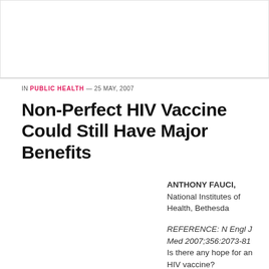[Figure (photo): Image placeholder area at the top of the article page]
IN PUBLIC HEALTH — 25 MAY, 2007
Non-Perfect HIV Vaccine Could Still Have Major Benefits
ANTHONY FAUCI, National Institutes of Health, Bethesda
REFERENCE: N Engl J Med 2007;356:2073-81 Is there any hope for an HIV vaccine?